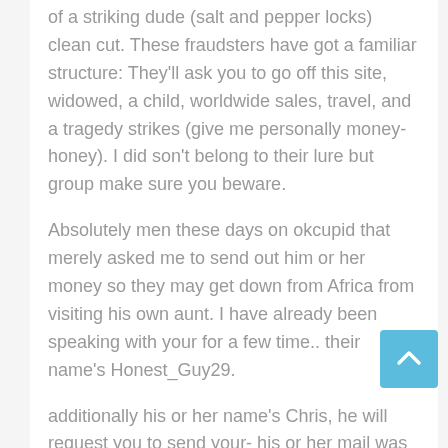of a striking dude (salt and pepper locks) clean cut. These fraudsters have got a familiar structure: They'll ask you to go off this site, widowed, a child, worldwide sales, travel, and a tragedy strikes (give me personally money-honey). I did son't belong to their lure but group make sure you beware.
Absolutely men these days on okcupid that merely asked me to send out him or her money so they may get down from Africa from visiting his own aunt. I have already been speaking with your for a few time.. their name's Honest_Guy29.
additionally his or her name's Chris, he will request you to send your- his or her mail was mrchris190@gmail. I'm thus freaked-out bc I was emailing your from a contact that truly employs my own brand. I was unaware for this so far... gosh I am just very dumb but i'm hence grateful We